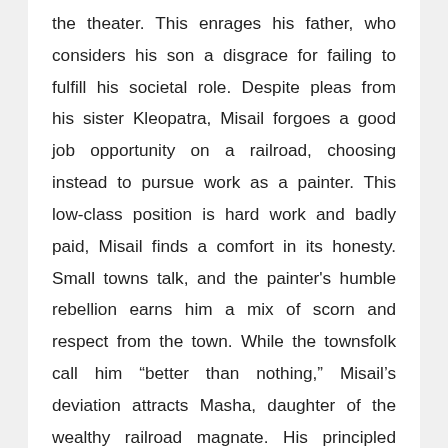the theater. This enrages his father, who considers his son a disgrace for failing to fulfill his societal role. Despite pleas from his sister Kleopatra, Misail forgoes a good job opportunity on a railroad, choosing instead to pursue work as a painter. This low-class position is hard work and badly paid, Misail finds a comfort in its honesty. Small towns talk, and the painter's humble rebellion earns him a mix of scorn and respect from the town. While the townsfolk call him “better than nothing,” Misail’s deviation attracts Masha, daughter of the wealthy railroad magnate. His principled lifestyle